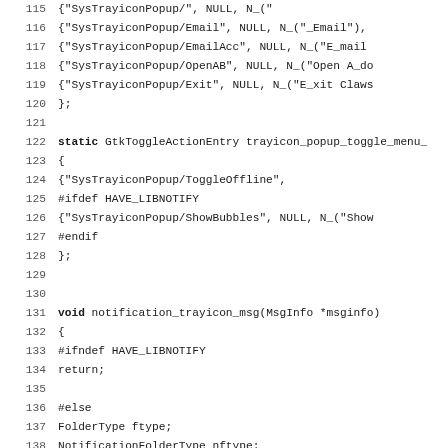[Figure (screenshot): Source code listing in monospace font showing C code lines 115-147, including struct initializers for SysTrayiconPopup menu entries, a static GtkToggleActionEntry array, preprocessor directives (#ifdef HAVE_LIBNOTIFY, #endif, #ifndef, #else), and the function void notification_trayicon_msg(MsgInfo *msginfo) with variable declarations and conditional logic.]